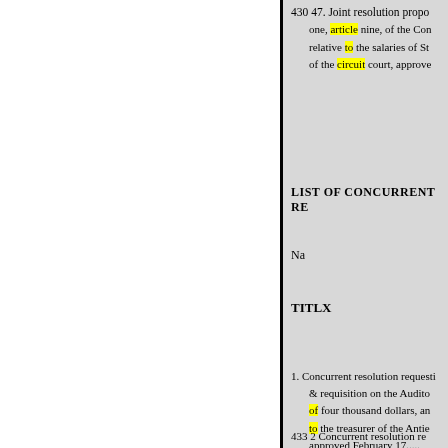430 47. Joint resolution propo one, article nine, of the Con relative to the salaries of St of the circuit court, approve
LIST OF CONCURRENT RE
Na
TITLX
1. Concurrent resolution requesti & requisition on the Audito of four thousand dollars, an to the treasurer of the Antie approved February 17.....
433 2 Concurrent resolution re